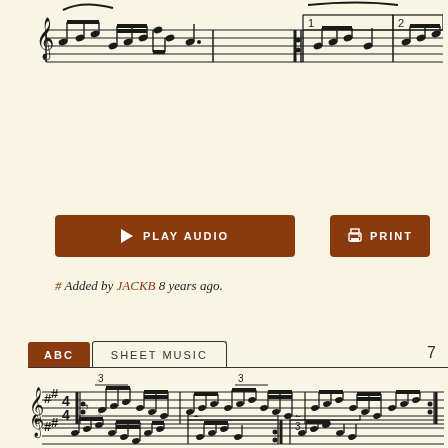[Figure (illustration): Sheet music notation showing a musical staff with notes, repeat signs, and volta brackets (1st and 2nd endings) at the top of the page]
[Figure (illustration): Play Audio button - brown/rust colored button with triangle play icon and text PLAY AUDIO]
[Figure (illustration): Print button - brown/rust colored button with printer icon and text PRINT]
# Added by JACKB 8 years ago.
[Figure (illustration): ABC and SHEET MUSIC tabs with number 7 on the right side]
[Figure (illustration): Sheet music notation in G major (2 sharps) in 4/4 time with triplet markings, showing a full musical line with notes and beams]
[Figure (illustration): Sheet music notation in G major with volta brackets (1st and 2nd endings) at bottom of page, partially cut off]